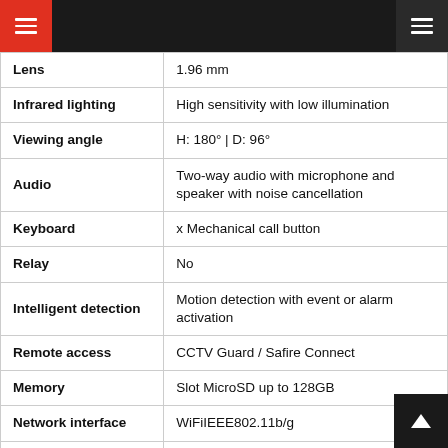| Feature | Specification |
| --- | --- |
| Lens | 1.96 mm |
| Infrared lighting | High sensitivity with low illumination |
| Viewing angle | H: 180° | D: 96° |
| Audio | Two-way audio with microphone and speaker with noise cancellation |
| Keyboard | x Mechanical call button |
| Relay | No |
| Intelligent detection | Motion detection with event or alarm activation |
| Remote access | CCTV Guard / Safire Connect |
| Memory | Slot MicroSD up to 128GB |
| Network interface | WiFiIEEE802.11b/g |
| Power supply | DC 12 V / 600 mA max. |